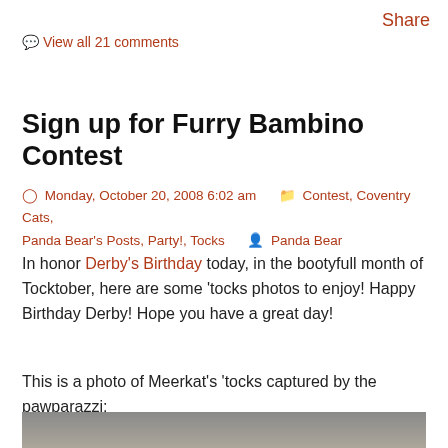Share
View all 21 comments
Sign up for Furry Bambino Contest
Monday, October 20, 2008 6:02 am   Contest, Coventry Cats, Panda Bear's Posts, Party!, Tocks   Panda Bear
In honor Derby's Birthday today, in the bootyfull month of Tocktober, here are some 'tocks photos to enjoy!  Happy Birthday Derby!  Hope you have a great day!
This is a photo of Meerkat's 'tocks captured by the pawparazzi:
[Figure (photo): Bottom portion of a cat showing its hindquarters ('tocks), photographed by the pawparazzi on a grey background.]